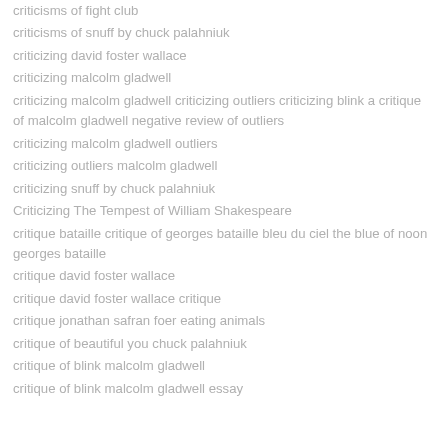criticisms of fight club
criticisms of snuff by chuck palahniuk
criticizing david foster wallace
criticizing malcolm gladwell
criticizing malcolm gladwell criticizing outliers criticizing blink a critique of malcolm gladwell negative review of outliers
criticizing malcolm gladwell outliers
criticizing outliers malcolm gladwell
criticizing snuff by chuck palahniuk
Criticizing The Tempest of William Shakespeare
critique bataille critique of georges bataille bleu du ciel the blue of noon georges bataille
critique david foster wallace
critique david foster wallace critique
critique jonathan safran foer eating animals
critique of beautiful you chuck palahniuk
critique of blink malcolm gladwell
critique of blink malcolm gladwell essay